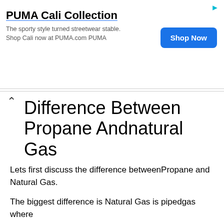[Figure (other): PUMA Cali Collection advertisement banner with title, body text, play/arrow icon, and blue Shop Now button]
Difference Between Propane Andnatural Gas
Lets first discuss the difference betweenPropane and Natural Gas.
The biggest difference is Natural Gas is pipedgas where Propane is Bottled Gas. That bottle can be portable like the typicalBBQ 20lb Tank or can be in a bulk tank that is above ground or buried.
Propane, also known as LP, LPG, is an approvedclean green